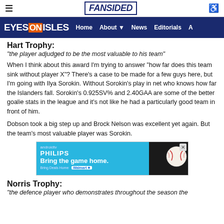FanSided — Eyes on Isles navigation bar with Home, About, News, Editorials
Hart Trophy:
"the player adjudged to be the most valuable to his team"
When I think about this award I'm trying to answer "how far does this team sink without player X"? There's a case to be made for a few guys here, but I'm going with Ilya Sorokin. Without Sorokin's play in net who knows how far the Islanders fall. Sorokin's 0.925SV% and 2.40GAA are some of the better goalie stats in the league and it's not like he had a particularly good team in front of him.
Dobson took a big step up and Brock Nelson was excellent yet again. But the team's most valuable player was Sorokin.
[Figure (other): Philips Android TV advertisement — 'Bring the game home.' with Walmart branding and baseball image]
Norris Trophy:
"the defence player who demonstrates throughout the season the